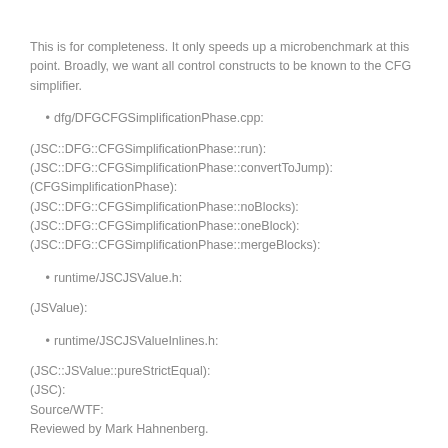This is for completeness. It only speeds up a microbenchmark at this point. Broadly, we want all control constructs to be known to the CFG simplifier.
dfg/DFGCFGSimplificationPhase.cpp:
(JSC::DFG::CFGSimplificationPhase::run):
(JSC::DFG::CFGSimplificationPhase::convertToJump):
(CFGSimplificationPhase):
(JSC::DFG::CFGSimplificationPhase::noBlocks):
(JSC::DFG::CFGSimplificationPhase::oneBlock):
(JSC::DFG::CFGSimplificationPhase::mergeBlocks):
runtime/JSCJSValue.h:
(JSValue):
runtime/JSCJSValueInlines.h:
(JSC::JSValue::pureStrictEqual):
(JSC):
Source/WTF:
Reviewed by Mark Hahnenberg.
wtf/TriState.h:
wtf/text/StringImpl.h:
LayoutTests:
Reviewed by Mark Hahnenberg.